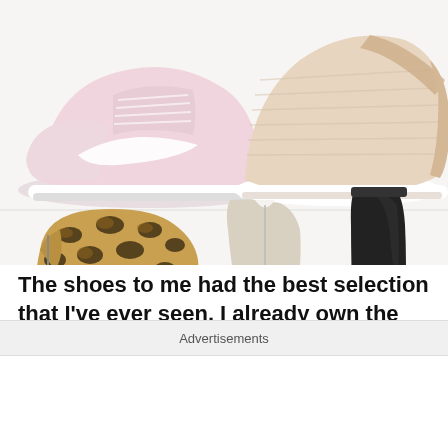[Figure (photo): Collage of shoes: top left - pink Nike sneaker, top right - beige/rose gold knit slip-on sneaker, bottom left - leopard print hidden wedge ankle bootie, bottom center - grey/beige leather wedge ankle boot, bottom right - black tall knee-high boot]
The shoes to me had the best selection that I've ever seen. I already own the grey Lucky Booties and they're super cute but fair warning: they're not super comfy because the heel is
Advertisements